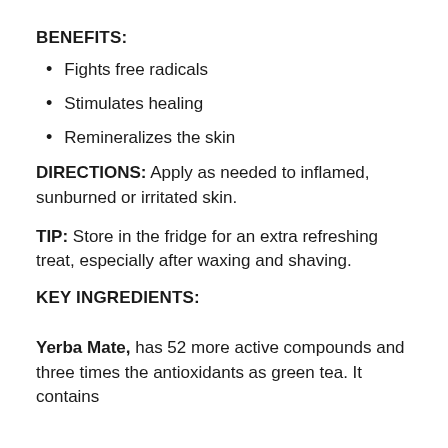BENEFITS:
Fights free radicals
Stimulates healing
Remineralizes the skin
DIRECTIONS: Apply as needed to inflamed, sunburned or irritated skin.
TIP: Store in the fridge for an extra refreshing treat, especially after waxing and shaving.
KEY INGREDIENTS:
Yerba Mate, has 52 more active compounds and three times the antioxidants as green tea. It contains